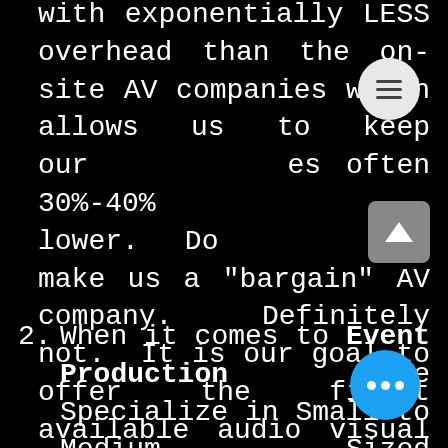with exponentially LESS overhead than the on-site AV companies which allows us to keep our prices often 30%-40% lower. Does this make us a "bargain" AV company. Definitely not. It is our goal to offer the finest available audio visual production gear and service at competitive rates. Believe us when we say, when it comes to your important function, the last thing you will want to do is penny pinch on crap gear. The few dollars extra to spend to have polished, high-end gear at the forefront of technology will be well worth it.
2. When it comes to Event Production We Specialize in Small to Medium Sized events. Typically a group of 10 to 500 is well within our wheel house and keeps our focus on YOU